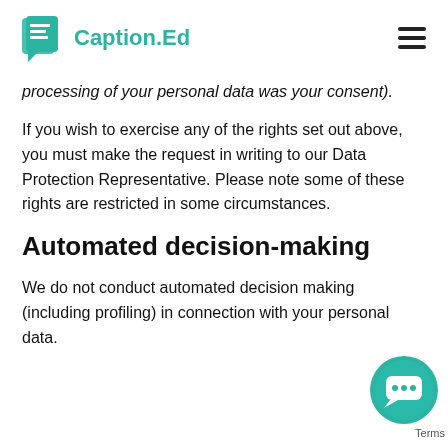Caption.Ed
processing of your personal data was your consent).
If you wish to exercise any of the rights set out above, you must make the request in writing to our Data Protection Representative. Please note some of these rights are restricted in some circumstances.
Automated decision-making
We do not conduct automated decision making (including profiling) in connection with your personal data.